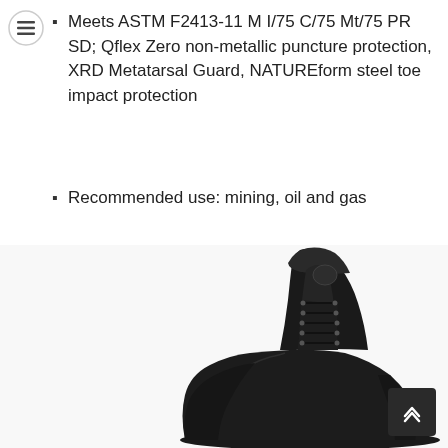Meets ASTM F2413-11 M I/75 C/75 Mt/75 PR SD; Qflex Zero non-metallic puncture protection, XRD Metatarsal Guard, NATUREform steel toe impact protection
Recommended use: mining, oil and gas
[Figure (photo): Close-up photo of a black tactical/work boot with laces, showing the toe box and side profile against a white background]